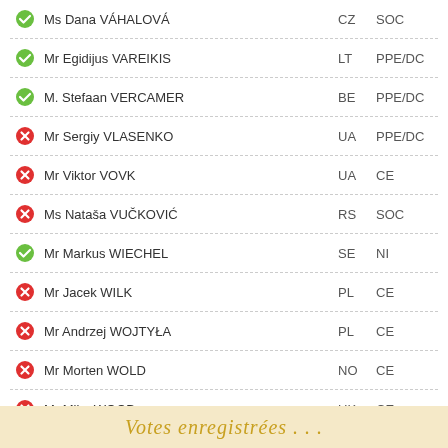Ms Dana VÁHALOVÁ | CZ | SOC | green-check
Mr Egidijus VAREIKIS | LT | PPE/DC | green-check
M. Stefaan VERCAMER | BE | PPE/DC | green-check
Mr Sergiy VLASENKO | UA | PPE/DC | red-x
Mr Viktor VOVK | UA | CE | red-x
Ms Nataša VUČKOVIĆ | RS | SOC | red-x
Mr Markus WIECHEL | SE | NI | green-check
Mr Jacek WILK | PL | CE | red-x
Mr Andrzej WOJTYŁA | PL | CE | red-x
Mr Morten WOLD | NO | CE | red-x
Mr Mike WOOD | UK | CE | red-x
Mme Serap YAŞAR | TR | CE | red-x
Mme Naira ZOHRABYAN | AM | CE | yellow-circle
Ms Alina ZOTEA | MD | ADLE | yellow-circle
Votes enregistrées...